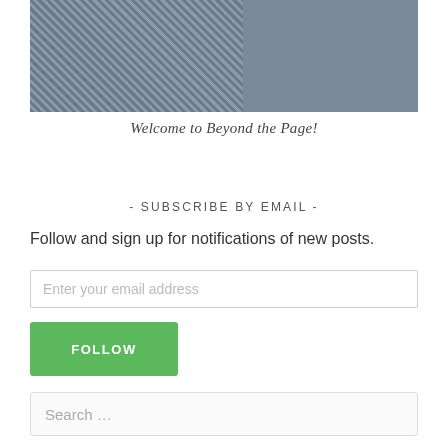[Figure (photo): Photo of two people, one in a blue/grey patterned top on the left and one in a light green top on the right, cropped at the top of the page.]
Welcome to Beyond the Page!
- SUBSCRIBE BY EMAIL -
Follow and sign up for notifications of new posts.
Enter your email address
FOLLOW
Search ...
- FOLLOW US -